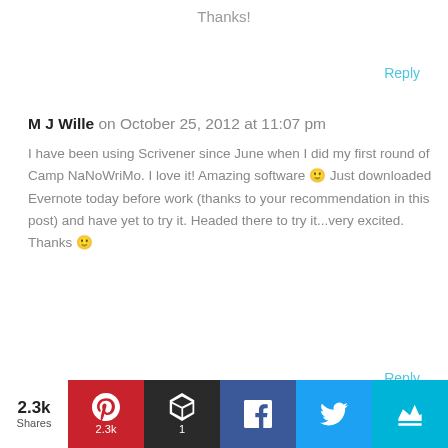Thanks!
Reply
M J Wille on October 25, 2012 at 11:07 pm
I have been using Scrivener since June when I did my first round of Camp NaNoWriMo. I love it! Amazing software 🙂 Just downloaded Evernote today before work (thanks to your recommendation in this post) and have yet to try it. Headed there to try it...very excited. Thanks 🙂
Reply
Nick Thacker on October 26, 2012 at 4:27 pm
2.3k Shares